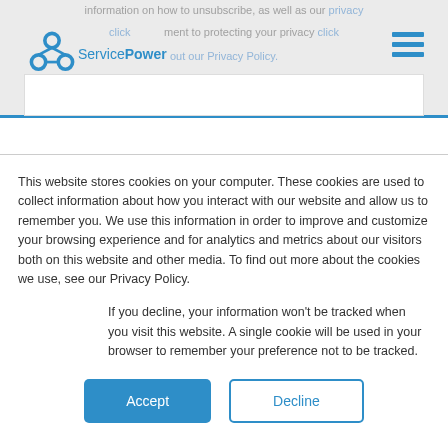information on how to unsubscribe, as well as our privacy commitment to protecting your privacy check out our Privacy Policy.
[Figure (logo): ServicePower logo with blue hexagonal nodes icon and text 'ServicePower']
[Figure (other): Hamburger menu icon with three blue horizontal lines]
This website stores cookies on your computer. These cookies are used to collect information about how you interact with our website and allow us to remember you. We use this information in order to improve and customize your browsing experience and for analytics and metrics about our visitors both on this website and other media. To find out more about the cookies we use, see our Privacy Policy.
If you decline, your information won't be tracked when you visit this website. A single cookie will be used in your browser to remember your preference not to be tracked.